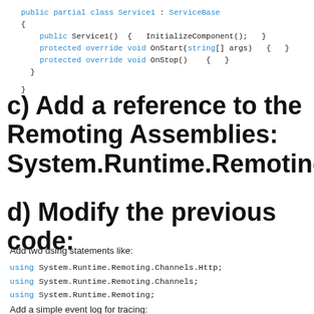public partial class Service1 : ServiceBase
{
    public Service1() {  InitializeComponent();  }
    protected override void OnStart(string[] args)  {  }
    protected override void OnStop()  {  }
}
c) Add a reference to the Remoting Assemblies: System.Runtime.Remoting;
d) Modify the previous code:
Add two using statements like:
using System.Runtime.Remoting.Channels.Http;
using System.Runtime.Remoting.Channels;
using System.Runtime.Remoting;
Add a simple event log for tracing: